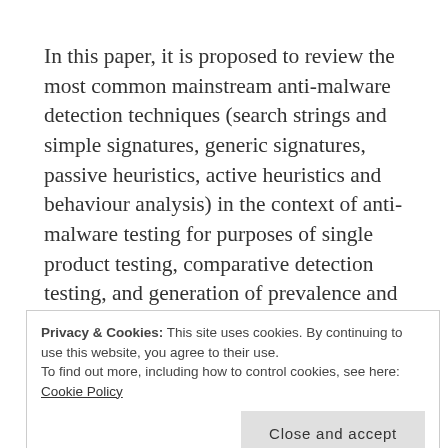In this paper, it is proposed to review the most common mainstream anti-malware detection techniques (search strings and simple signatures, generic signatures, passive heuristics, active heuristics and behaviour analysis) in the context of anti-malware testing for purposes of single product testing, comparative detection testing, and generation of prevalence and global detection data.
Privacy & Cookies: This site uses cookies. By continuing to use this website, you agree to their use.
To find out more, including how to control cookies, see here: Cookie Policy
Close and accept
innocent applications as malware, but also